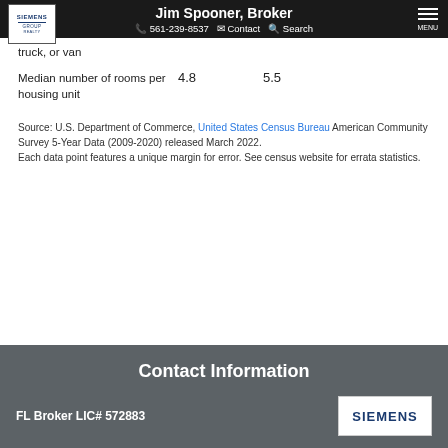Jim Spooner, Broker | 561-239-8537 | Contact | Search | MENU
|  | Value 1 | Value 2 |
| --- | --- | --- |
| truck, or van |  |  |
| Median number of rooms per housing unit | 4.8 | 5.5 |
Source: U.S. Department of Commerce, United States Census Bureau American Community Survey 5-Year Data (2009-2020) released March 2022.
Each data point features a unique margin for error. See census website for errata statistics.
Contact Information
FL Broker LIC# 572883